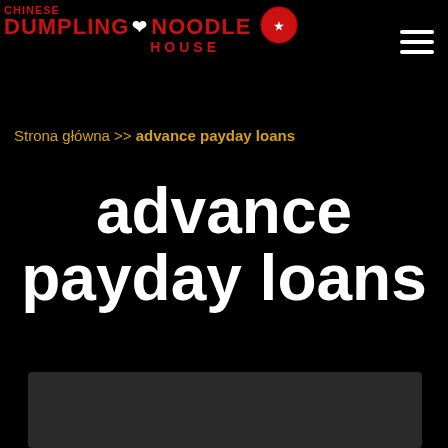[Figure (logo): Chinese Dumpling & Noodle House logo with red text and heart symbol]
Strona główna >> advance payday loans
advance payday loans
[Figure (screenshot): Dark gray content box at bottom of page]